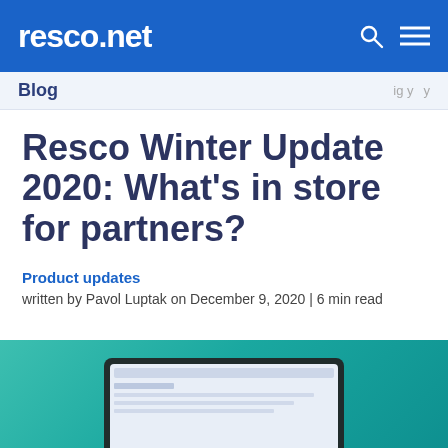resco.net
Blog
Resco Winter Update 2020: What's in store for partners?
Product updates
written by Pavol Luptak on December 9, 2020 | 6 min read
[Figure (screenshot): Laptop showing a software interface on a teal/green gradient background]